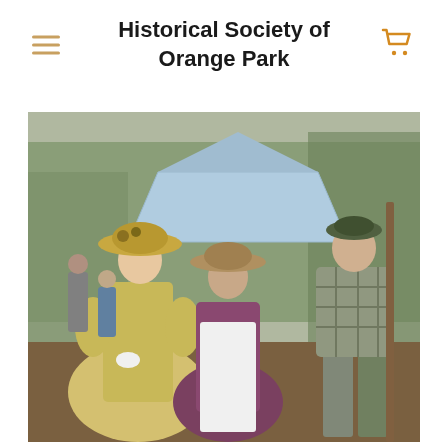Historical Society of Orange Park
[Figure (photo): Three people in historical Civil War era costumes posing outdoors at what appears to be a historical reenactment event. A woman on the left wears a yellow period dress and wide-brimmed hat with flowers, a shorter woman in the center wears a dark purple dress with a white apron and tan hat, and a man on the right holds a rifle and wears a plaid shirt with a green cap. A blue event tent is visible in the background along with trees and other attendees.]